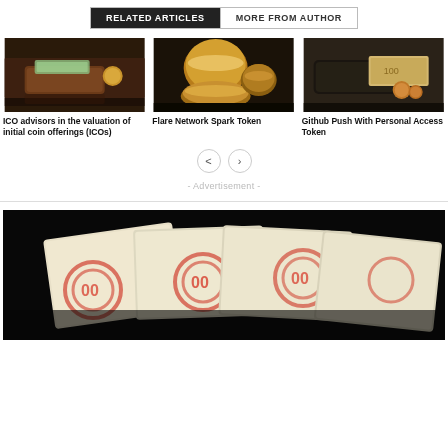RELATED ARTICLES | MORE FROM AUTHOR
[Figure (photo): A brown leather wallet with cash/banknotes on a dark wooden surface]
ICO advisors in the valuation of initial coin offerings (ICOs)
[Figure (photo): Several gold coins stacked on a dark reflective surface]
Flare Network Spark Token
[Figure (photo): A black wallet with coins and banknotes on a dark surface]
Github Push With Personal Access Token
- Advertisement -
[Figure (photo): Several Russian ruble banknotes (1000 ruble notes) fanned out on a black background]